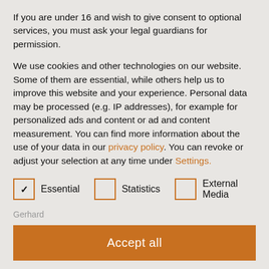If you are under 16 and wish to give consent to optional services, you must ask your legal guardians for permission.
We use cookies and other technologies on our website. Some of them are essential, while others help us to improve this website and your experience. Personal data may be processed (e.g. IP addresses), for example for personalized ads and content or ad and content measurement. You can find more information about the use of your data in our privacy policy. You can revoke or adjust your selection at any time under Settings.
Essential (checked), Statistics (unchecked), External Media (unchecked)
Accept all
16th November 2015 at 19:02
#26581
Laszlo